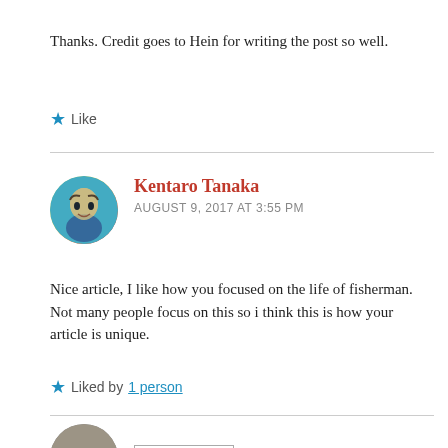Thanks. Credit goes to Hein for writing the post so well.
★ Like
Kentaro Tanaka
AUGUST 9, 2017 AT 3:55 PM
Nice article, I like how you focused on the life of fisherman. Not many people focus on this so i think this is how your article is unique.
★ Liked by 1 person
Lyf&Spice